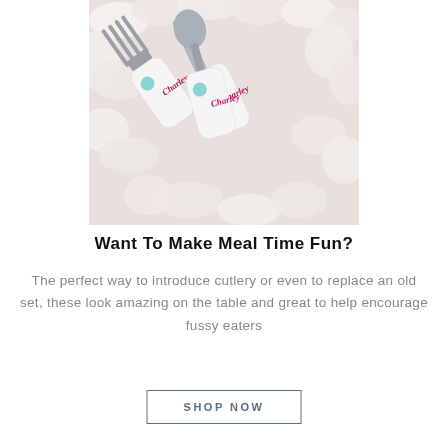[Figure (photo): Three personalized children's cutlery pieces (fork, knife, spoon) with white plastic handles printed with the name 'Charley' in red/pink script and a cartoon elephant with a pink bow. The cutlery is laid on a bed of white flower petals.]
Want to make meal time fun?
The perfect way to introduce cutlery or even to replace an old set, these look amazing on the table and great to help encourage fussy eaters
SHOP NOW